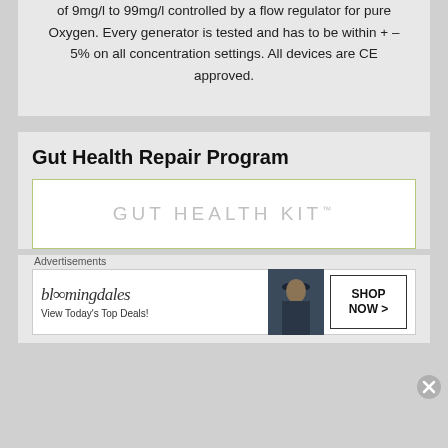of 9mg/l to 99mg/l controlled by a flow regulator for pure Oxygen. Every generator is tested and has to be within + – 5% on all concentration settings. All devices are CE approved.
Gut Health Repair Program
[Figure (other): GUT HEALTH KIT™ logo in a bordered white box with olive/green border]
Advertisements
[Figure (other): Bloomingdale's advertisement banner: 'bloomingdales — View Today's Top Deals!' with a woman in a hat image and 'SHOP NOW >' button]